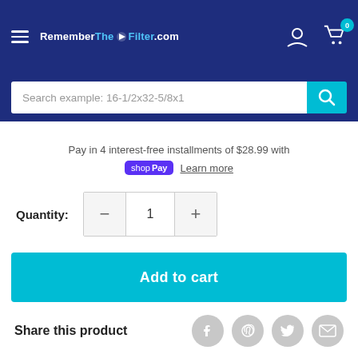RememberTheFilter.com — navigation bar with hamburger menu, logo, user icon, and cart with 0 items
Search example: 16-1/2x32-5/8x1
Pay in 4 interest-free installments of $28.99 with shop Pay  Learn more
Quantity: 1
Add to cart
Share this product